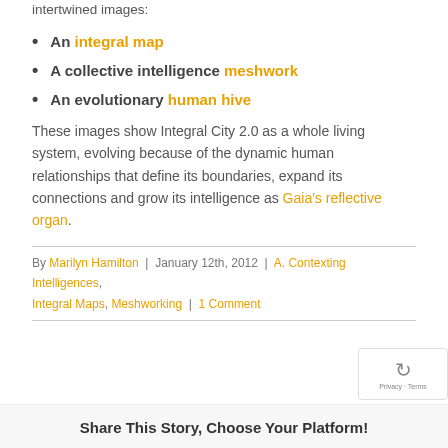Integral City 2.0 tracks these conditions using three intertwined images:
An integral map
A collective intelligence meshwork
An evolutionary human hive
These images show Integral City 2.0 as a whole living system, evolving because of the dynamic human relationships that define its boundaries, expand its connections and grow its intelligence as Gaia's reflective organ.
By Marilyn Hamilton | January 12th, 2012 | A. Contexting Intelligences, Integral Maps, Meshworking | 1 Comment
Share This Story, Choose Your Platform!